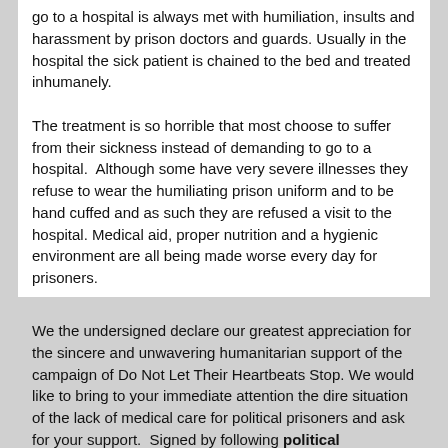go to a hospital is always met with humiliation, insults and harassment by prison doctors and guards. Usually in the hospital the sick patient is chained to the bed and treated inhumanely. The treatment is so horrible that most choose to suffer from their sickness instead of demanding to go to a hospital. Although some have very severe illnesses they refuse to wear the humiliating prison uniform and to be hand cuffed and as such they are refused a visit to the hospital. Medical aid, proper nutrition and a hygienic environment are all being made worse every day for prisoners.
We the undersigned declare our greatest appreciation for the sincere and unwavering humanitarian support of the campaign of Do Not Let Their Heartbeats Stop. We would like to bring to your immediate attention the dire situation of the lack of medical care for political prisoners and ask for your support. Signed by following political prisoners: Amir Dorosti, Reza Shahabi, Behnam Ebrahimzade,